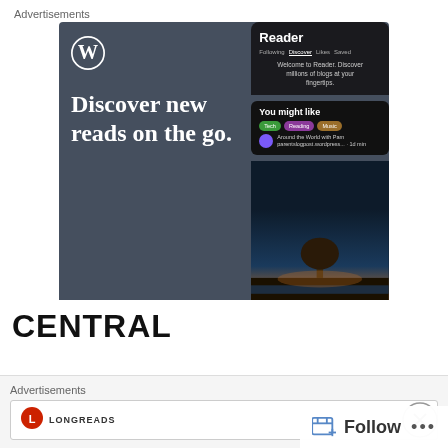Advertisements
[Figure (screenshot): WordPress app advertisement showing 'Discover new reads on the go.' with GET THE APP call-to-action and a phone mockup showing the Reader interface]
REPORT THIS AD
CENTRAL
Advertisements
[Figure (logo): Longreads logo]
Follow
•••